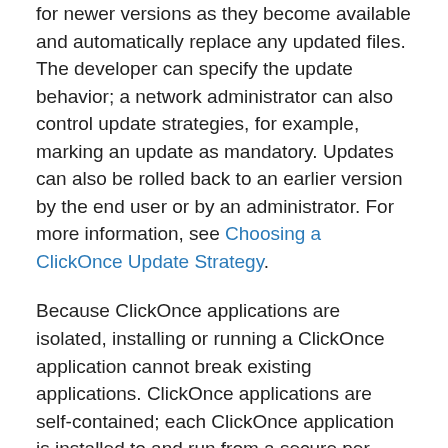for newer versions as they become available and automatically replace any updated files. The developer can specify the update behavior; a network administrator can also control update strategies, for example, marking an update as mandatory. Updates can also be rolled back to an earlier version by the end user or by an administrator. For more information, see Choosing a ClickOnce Update Strategy.
Because ClickOnce applications are isolated, installing or running a ClickOnce application cannot break existing applications. ClickOnce applications are self-contained; each ClickOnce application is installed to and run from a secure per-user, per-application cache. ClickOnce applications run in the Internet or Intranet security zones. If necessary, the application can request elevated security permissions. For more information, see Securing ClickOnce Applications.